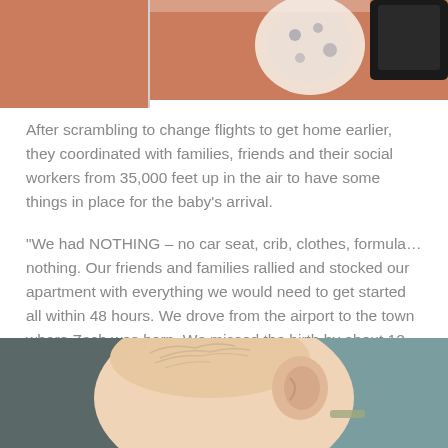[Figure (photo): Top portion of photo showing a baby or infant being held, with salmon/orange colored clothing visible and what appears to be a toy or item]
After scrambling to change flights to get home earlier, they coordinated with families, friends and their social workers from 35,000 feet up in the air to have some things in place for the baby's arrival.
"We had NOTHING – no car seat, crib, clothes, formula… nothing. Our friends and families rallied and stocked our apartment with everything we would need to get started all within 48 hours. We drove from the airport to the town where Zach was born. We missed the birth by about 12 hours. Thousands of miles and 16 hours of travel later though, he was in our arms."
[Figure (photo): Bottom portion of photo showing a baby's head with wispy hair resting against what appears to be an adult's chest or shoulder, wearing teal/blue clothing]